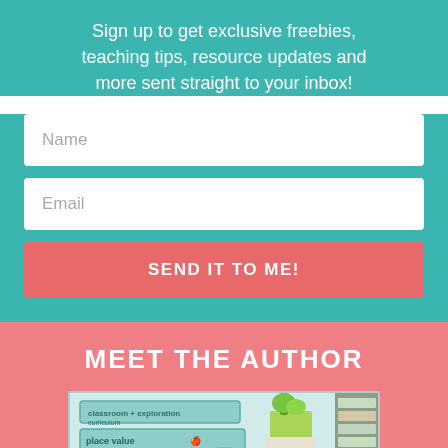Sign up to get exclusive freebies, teaching tips, resource updates and more sent straight to your inbox!
Name
Email
SEND IT TO ME!
MEET THE AUTHOR
[Figure (photo): Photo of the author in a classroom setting with labeled bins for 'place value' and 'money', a plant, and bookshelves visible in the background.]